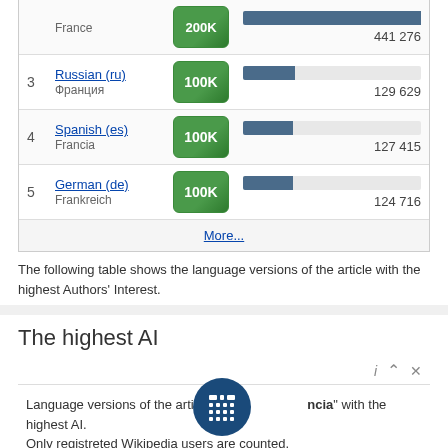| # | Language | AI award | Relative AI |
| --- | --- | --- | --- |
|  | France | 200K | 441 276 |
| 3 | Russian (ru)
Франция | 100K | 129 629 |
| 4 | Spanish (es)
Francia | 100K | 127 415 |
| 5 | German (de)
Frankreich | 100K | 124 716 |
More...
The following table shows the language versions of the article with the highest Authors' Interest.
The highest AI
Language versions of the article "Francia" with the highest AI. Only registreted Wikipedia users are counted.
| # | Language | AI award | Relative AI |
| --- | --- | --- | --- |